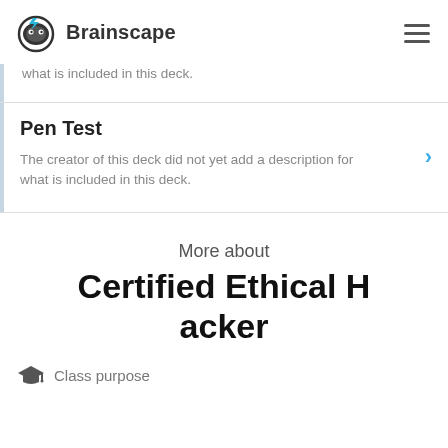Brainscape
what is included in this deck.
Pen Test
The creator of this deck did not yet add a description for what is included in this deck.
More about
Certified Ethical Hacker
Class purpose